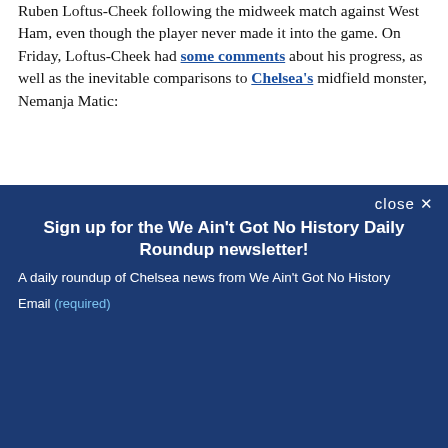Ruben Loftus-Cheek following the midweek match against West Ham, even though the player never made it into the game. On Friday, Loftus-Cheek had some comments about his progress, as well as the inevitable comparisons to Chelsea's midfield monster, Nemanja Matic:
close ✕
Sign up for the We Ain't Got No History Daily Roundup newsletter!
A daily roundup of Chelsea news from We Ain't Got No History
Email (required)
SUBSCRIBE
By submitting your email, you agree to our Terms and Privacy Notice. You can opt out at any time. This site is protected by reCAPTCHA and the Google Privacy Policy and Terms of Service apply.